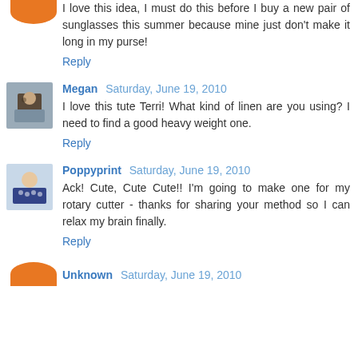I love this idea, I must do this before I buy a new pair of sunglasses this summer because mine just don't make it long in my purse!
Reply
Megan  Saturday, June 19, 2010
I love this tute Terri! What kind of linen are you using? I need to find a good heavy weight one.
Reply
Poppyprint  Saturday, June 19, 2010
Ack! Cute, Cute Cute!! I'm going to make one for my rotary cutter - thanks for sharing your method so I can relax my brain finally.
Reply
Unknown  Saturday, June 19, 2010